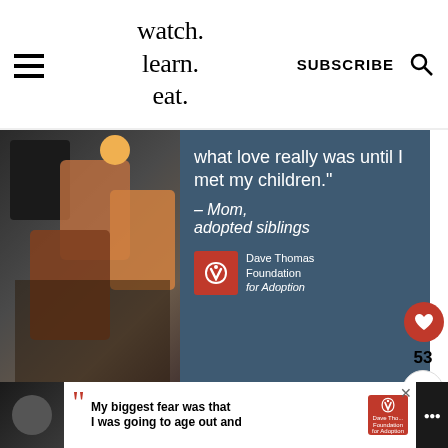watch. learn. eat. | SUBSCRIBE
[Figure (photo): Advertisement banner from Dave Thomas Foundation for Adoption showing a family photo on the left and the quote 'what love really was until I met my children.' — Mom, adopted siblings on a dark blue background with the Dave Thomas Foundation for Adoption logo]
How to make
[Figure (photo): Bottom advertisement banner: My biggest fear was that I was going to age out and — Dave Thomas Foundation for Adoption]